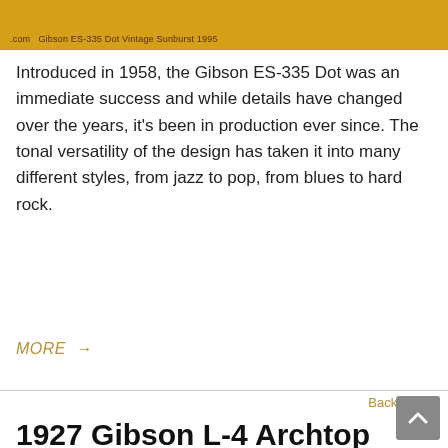[Figure (photo): Partial view of a Gibson ES-335 Dot Vintage Sunburst 1995 guitar against a yellow/gold background. A label at the bottom of the image reads: '.com  Gibson ES-335 Dot Vintage Sunburst 1995']
Introduced in 1958, the Gibson ES-335 Dot was an immediate success and while details have changed over the years, it's been in production ever since. The tonal versatility of the design has taken it into many different styles, from jazz to pop, from blues to hard rock.
MORE →
Back to Top
1927 Gibson L-4 Archtop (consignment) NO LONGER AVAILABLE